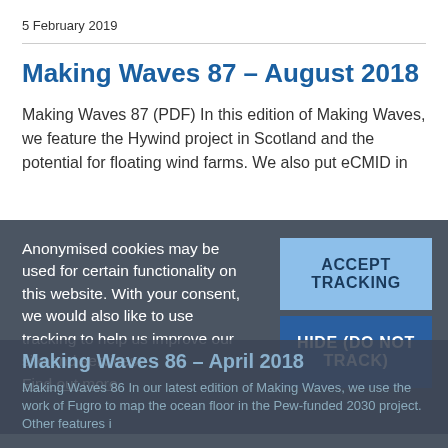5 February 2019
Making Waves 87 – August 2018
Making Waves 87 (PDF) In this edition of Making Waves, we feature the Hywind project in Scotland and the potential for floating wind farms. We also put eCMID in
Anonymised cookies may be used for certain functionality on this website. With your consent, we would also like to use tracking to help us improve our site and services. Find out more
ACCEPT TRACKING
HIDE (DO NOT TRACK)
Making Waves 86 – April 2018
Making Waves 86 In our latest edition of Making Waves, we use the work of Fugro to map the ocean floor in the Pew-funded 2030 project. Other features i